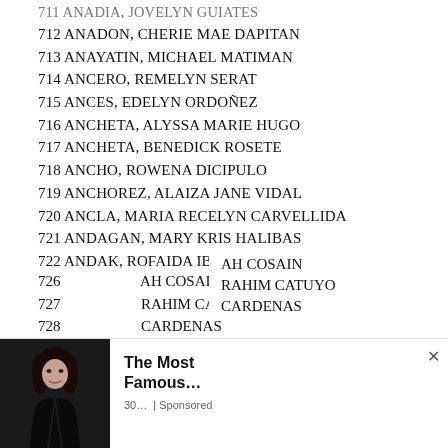711 ANADIA, JOVELYN GUIATES
712 ANADON, CHERIE MAE DAPITAN
713 ANAYATIN, MICHAEL MATIMAN
714 ANCERO, REMELYN SERAT
715 ANCES, EDELYN ORDOÑEZ
716 ANCHETA, ALYSSA MARIE HUGO
717 ANCHETA, BENEDICK ROSETE
718 ANCHO, ROWENA DICIPULO
719 ANCHOREZ, ALAIZA JANE VIDAL
720 ANCLA, MARIA RECELYN CARVELLIDA
721 ANDAGAN, MARY KRIS HALIBAS
722 ANDAK, ROFAIDA IBRAHIM
723 ANDAL, MARIEL GREGORIO
724 ANDALES, HANILYN CORTEZ
725 ANDALES, MARICEL BIÑAN
726 ... AH COSAIN
727 ... RAHIM CATUYO
728 ... CARDENAS
[Figure (other): Advertisement overlay showing a woman photo with text 'The Most Famous…' and '30… | Sponsored']